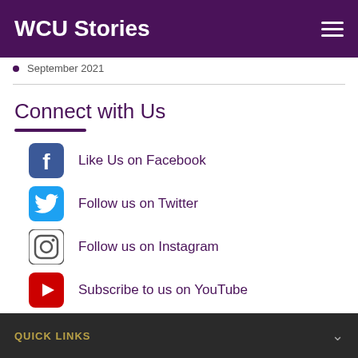WCU Stories
September 2021
Connect with Us
Like Us on Facebook
Follow us on Twitter
Follow us on Instagram
Subscribe to us on YouTube
QUICK LINKS